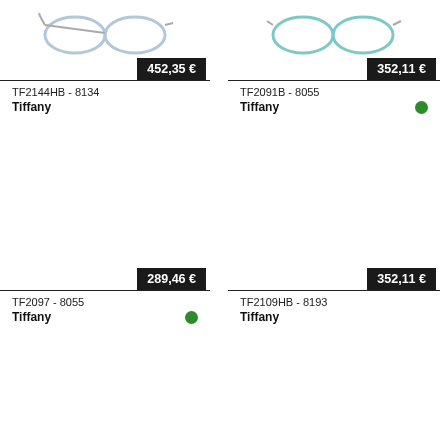[Figure (photo): Tiffany eyeglasses frames top view, left product]
452,35 €
TF2144HB - 8134
Tiffany
[Figure (photo): Tiffany eyeglasses frames top view, right product]
352,11 €
TF2091B - 8055
Tiffany
289,46 €
TF2097 - 8055
Tiffany
352,11 €
TF2109HB - 8193
Tiffany